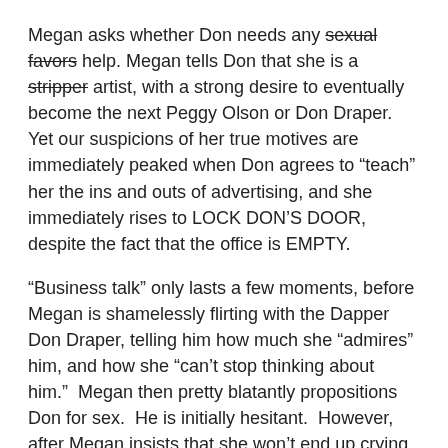Megan asks whether Don needs any sexual favors help. Megan tells Don that she is a stripper artist, with a strong desire to eventually become the next Peggy Olson or Don Draper.  Yet our suspicions of her true motives are immediately peaked when Don agrees to “teach” her the ins and outs of advertising, and she immediately rises to LOCK DON’S DOOR, despite the fact that the office is EMPTY.
“Business talk” only lasts a few moments, before Megan is shamelessly flirting with the Dapper Don Draper, telling him how much she “admires” him, and how she “can’t stop thinking about him.”  Megan then pretty blatantly propositions Don for sex.  He is initially hesitant.  However, after Megan insists that she won’t end up crying over him the next day, like SOME people . . .